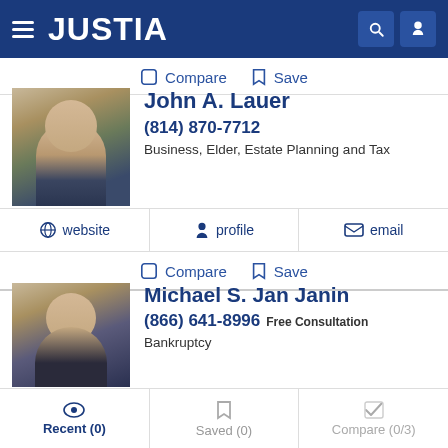JUSTIA
Compare  Save
John A. Lauer
(814) 870-7712
Business, Elder, Estate Planning and Tax
website  profile  email
Compare  Save
Michael S. Jan Janin
(866) 641-8996 Free Consultation
Bankruptcy
Recent (0)  Saved (0)  Compare (0/3)